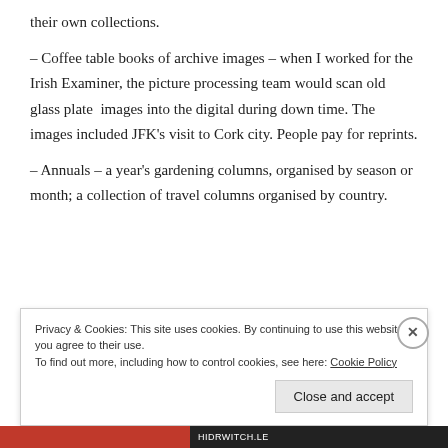their own collections.
– Coffee table books of archive images – when I worked for the Irish Examiner, the picture processing team would scan old glass plate  images into the digital during down time. The images included JFK's visit to Cork city. People pay for reprints.
– Annuals – a year's gardening columns, organised by season or month; a collection of travel columns organised by country.
Privacy & Cookies: This site uses cookies. By continuing to use this website, you agree to their use.
To find out more, including how to control cookies, see here: Cookie Policy
Close and accept